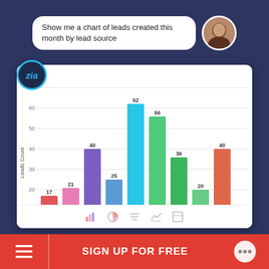Show me a chart of leads created this month by lead source
[Figure (bar-chart): Leads created this month by lead source]
SIGN UP FOR FREE